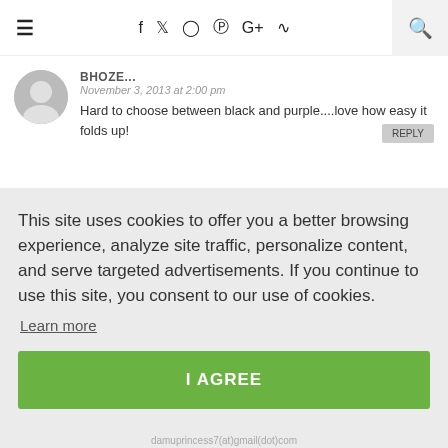≡  f  𝕏  ⊙  ☉  G+  ⌘  🔍
BHOZE... November 3, 2013 at 2:00 pm
Hard to choose between black and purple....love how easy it folds up!
This site uses cookies to offer you a better browsing experience, analyze site traffic, personalize content, and serve targeted advertisements. If you continue to use this site, you consent to our use of cookies.
Learn more
I AGREE
damuprincess7(at)gmail(dot)com